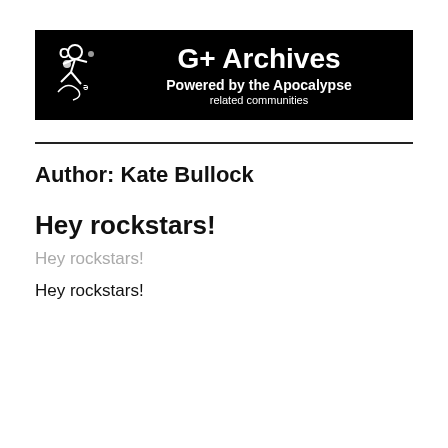[Figure (logo): G+ Archives banner logo on black background with decorative white figure graphic on left, and text 'G+ Archives / Powered by the Apocalypse / related communities' in white on black]
Author: Kate Bullock
Hey rockstars!
Hey rockstars!
Hey rockstars!